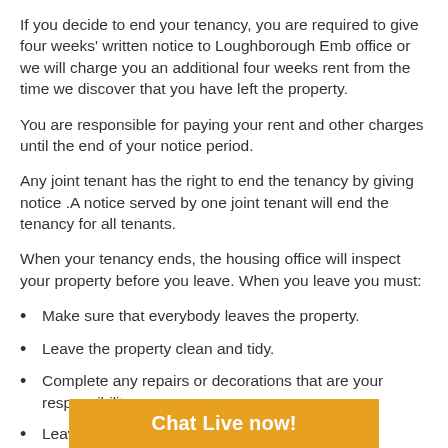If you decide to end your tenancy, you are required to give four weeks' written notice to Loughborough Emb office or we will charge you an additional four weeks rent from the time we discover that you have left the property.
You are responsible for paying your rent and other charges until the end of your notice period.
Any joint tenant has the right to end the tenancy by giving notice .A notice served by one joint tenant will end the tenancy for all tenants.
When your tenancy ends, the housing office will inspect your property before you leave. When you leave you must:
Make sure that everybody leaves the property.
Leave the property clean and tidy.
Complete any repairs or decorations that are your responsibility.
Leave all fi…
[Figure (other): Orange banner overlay with text 'Chat Live now!']